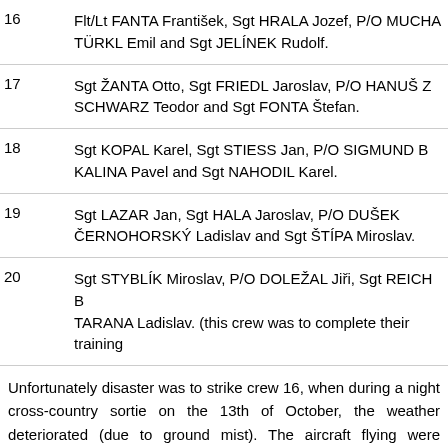16  Flt/Lt FANTA František, Sgt HRALA Jozef, P/O MUCHA TÜRKL Emil and Sgt JELÍNEK Rudolf.
17  Sgt ŽANTA Otto, Sgt FRIEDL Jaroslav, P/O HANUŠ Z SCHWARZ Teodor and Sgt FONTA Štefan.
18  Sgt KOPAL Karel, Sgt STIESS Jan, P/O SIGMUND B KALINA Pavel and Sgt NAHODIL Karel.
19  Sgt LAZAR Jan, Sgt HALA Jaroslav, P/O DUŠEK ČERNOHORSKÝ Ladislav and Sgt ŠTÍPA Miroslav.
20  Sgt STYBLÍK Miroslav, P/O DOLEŽAL Jiří, Sgt REICH B TARANA Ladislav. (this crew was to complete their training
Unfortunately disaster was to strike crew 16, when during a night cross-country sortie on the 13th of October, the weather deteriorated (due to ground mist). The aircraft flying were recalled to base. The aircraft of